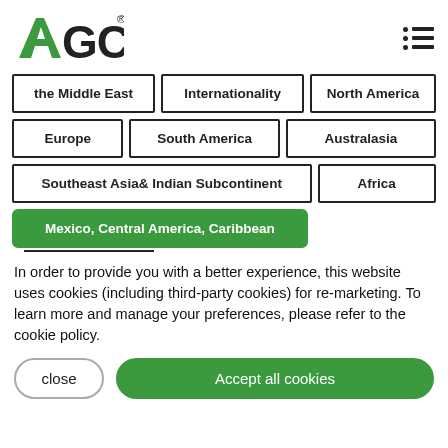[Figure (logo): AGC company logo with green A and black GC letters, registered trademark symbol]
the Middle East
Internationality
North America
Europe
South America
Australasia
Southeast Asia& Indian Subcontinent
Africa
Mexico, Central America, Caribbean
In order to provide you with a better experience, this website uses cookies (including third-party cookies) for re-marketing. To learn more and manage your preferences, please refer to the cookie policy.
close
Accept all cookies